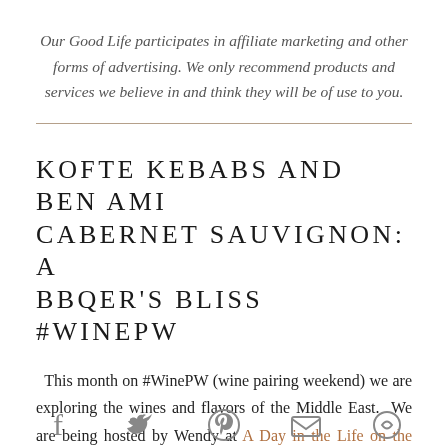Our Good Life participates in affiliate marketing and other forms of advertising. We only recommend products and services we believe in and think they will be of use to you.
KOFTE KEBABS AND BEN AMI CABERNET SAUVIGNON: A BBQER'S BLISS #WINEPW
This month on #WinePW (wine pairing weekend) we are exploring the wines and flavors of the Middle East. We are being hosted by Wendy at A Day in the Life on the Farm. She's sharing a mezzo platter that
[Figure (other): Social media sharing icons row: Facebook, Twitter, Pinterest, Email, and one more icon partially visible]